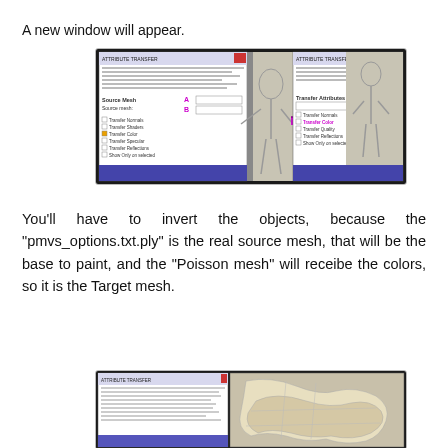A new window will appear.
[Figure (screenshot): Screenshot showing two side-by-side dialog panels with a magenta arrow pointing from left to right between them. Labels A and B appear on the right panel.]
You'll have to invert the objects, because the “pmvs_options.txt.ply” is the real source mesh, that will be the base to paint, and the “Poisson mesh” will receibe the colors, so it is the Target mesh.
[Figure (screenshot): Screenshot showing a Transfer Attributes dialog panel on the left and a 3D mesh render of a human torso on the right.]